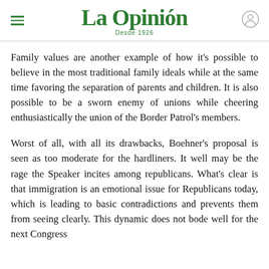La Opinión — Desde 1926
Family values are another example of how it's possible to believe in the most traditional family ideals while at the same time favoring the separation of parents and children. It is also possible to be a sworn enemy of unions while cheering enthusiastically the union of the Border Patrol's members.
Worst of all, with all its drawbacks, Boehner's proposal is seen as too moderate for the hardliners. It well may be the rage the Speaker incites among republicans. What's clear is that immigration is an emotional issue for Republicans today, which is leading to basic contradictions and prevents them from seeing clearly. This dynamic does not bode well for the next Congress